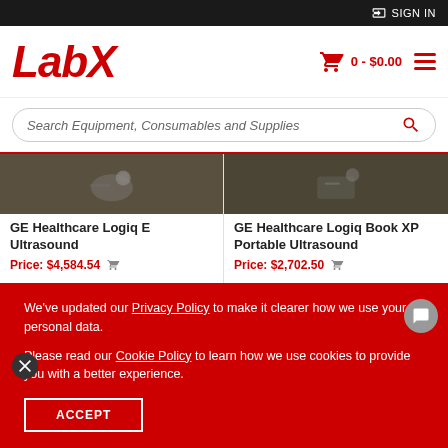SIGN IN
[Figure (logo): LabX logo in red italic bold text]
0 - $0.00
Search Equipment, Consumables and Supplies
GE Healthcare Logiq E Ultrasound
Price: $4,584.54
GE Healthcare Logiq Book XP Portable Ultrasound
Price: $2,702.50
We've updated our Privacy Policy to make it clearer how we use your personal data.

Please read our Cookie Policy to learn how we use cookies to provide you with a better experience.
ACCEPT